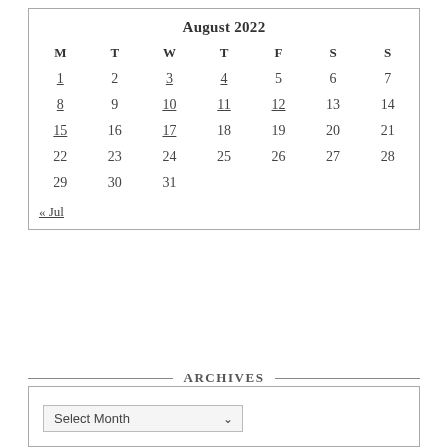| M | T | W | T | F | S | S |
| --- | --- | --- | --- | --- | --- | --- |
| 1 | 2 | 3 | 4 | 5 | 6 | 7 |
| 8 | 9 | 10 | 11 | 12 | 13 | 14 |
| 15 | 16 | 17 | 18 | 19 | 20 | 21 |
| 22 | 23 | 24 | 25 | 26 | 27 | 28 |
| 29 | 30 | 31 |  |  |  |  |
« Jul
ARCHIVES
Select Month